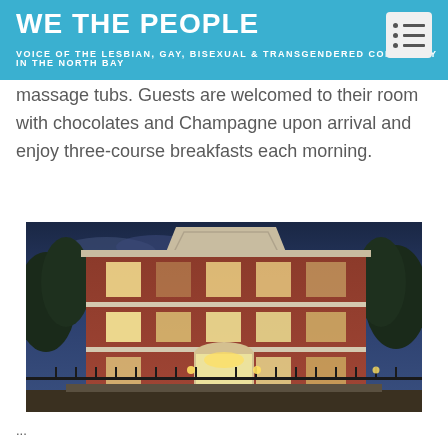WE THE PEOPLE — VOICE OF THE LESBIAN, GAY, BISEXUAL & TRANSGENDERED COMMUNITY IN THE NORTH BAY
massage tubs. Guests are welcomed to their room with chocolates and Champagne upon arrival and enjoy three-course breakfasts each morning.
[Figure (photo): Night-time exterior photo of a large red brick historic building, three stories tall with classical architectural details including a pediment at the top, illuminated windows, ornate entrance arch, and decorative ironwork fence in the foreground, with trees visible on both sides against a deep blue evening sky.]
...